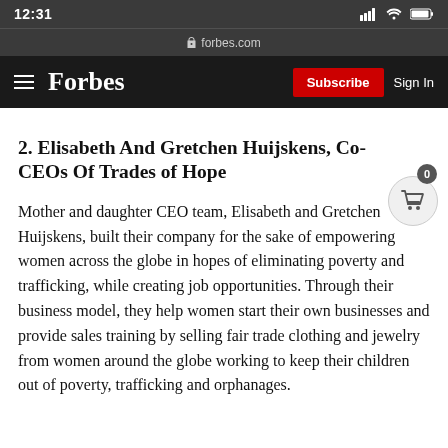12:31  forbes.com
[Figure (screenshot): Forbes website navigation bar with hamburger menu, Forbes logo, Subscribe button (red), and Sign In link on dark background]
2. Elisabeth And Gretchen Huijskens, Co-CEOs Of Trades of Hope
Mother and daughter CEO team, Elisabeth and Gretchen Huijskens, built their company for the sake of empowering women across the globe in hopes of eliminating poverty and trafficking, while creating job opportunities. Through their business model, they help women start their own businesses and provide sales training by selling fair trade clothing and jewelry from women around the globe working to keep their children out of poverty, trafficking and orphanages.